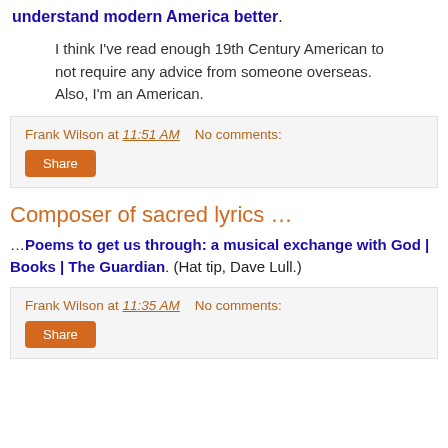understand modern America better.
I think I've read enough 19th Century American to not require any advice from someone overseas. Also, I'm an American.
Frank Wilson at 11:51 AM   No comments:
Share
Composer of sacred lyrics …
…Poems to get us through: a musical exchange with God | Books | The Guardian. (Hat tip, Dave Lull.)
Frank Wilson at 11:35 AM   No comments:
Share